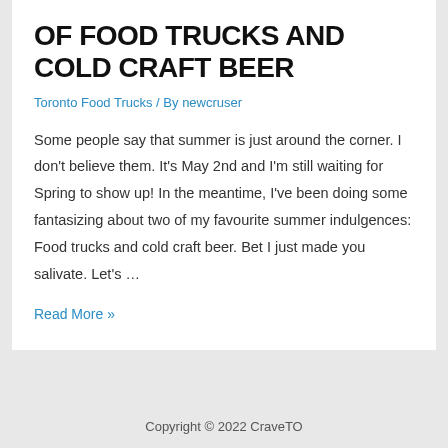OF FOOD TRUCKS AND COLD CRAFT BEER
Toronto Food Trucks / By newcruser
Some people say that summer is just around the corner.  I don't believe them.  It's May 2nd and I'm still waiting for Spring to show up!   In the meantime, I've been doing some fantasizing about two of my favourite summer indulgences:  Food trucks and cold craft beer. Bet I just made you salivate.   Let's …
Read More »
Copyright © 2022 CraveTO